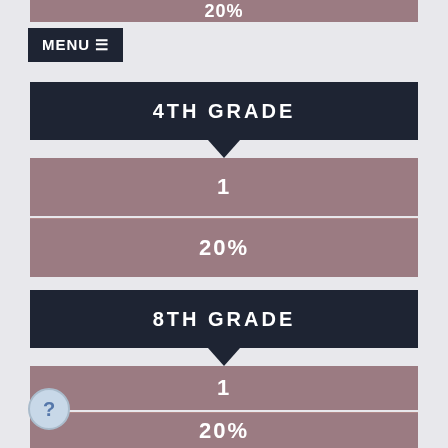20%
MENU
4TH GRADE
1
20%
8TH GRADE
1
20%
11TH GRADE